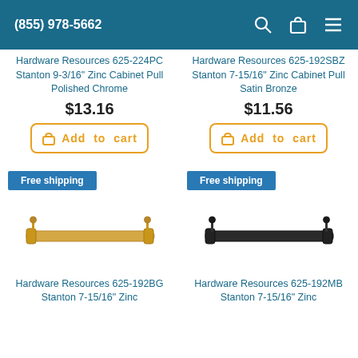(855) 978-5662
Hardware Resources 625-224PC Stanton 9-3/16" Zinc Cabinet Pull Polished Chrome
$13.16
Add to cart
Hardware Resources 625-192SBZ Stanton 7-15/16" Zinc Cabinet Pull Satin Bronze
$11.56
Add to cart
Free shipping
[Figure (photo): Gold/brass colored cabinet pull bar handle]
Free shipping
[Figure (photo): Matte black cabinet pull bar handle]
Hardware Resources 625-192BG Stanton 7-15/16" Zinc
Hardware Resources 625-192MB Stanton 7-15/16" Zinc